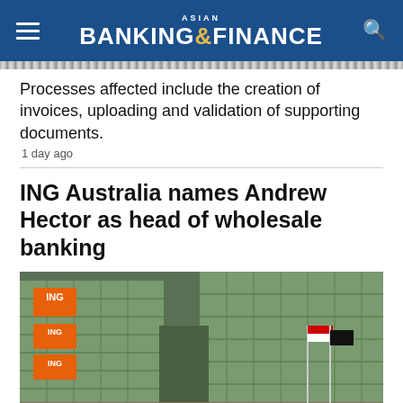ASIAN BANKING & FINANCE
Processes affected include the creation of invoices, uploading and validation of supporting documents.
1 day ago
ING Australia names Andrew Hector as head of wholesale banking
[Figure (photo): Aerial view of ING headquarters building with orange ING logo banners. A large crowd of people dressed in orange fills the plaza in front of the modern glass-and-steel building. Several flags including Dutch flag are visible on flagpoles.]